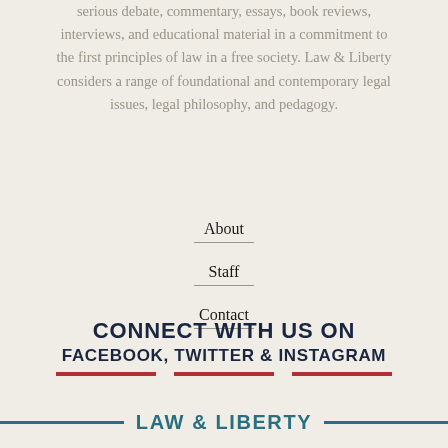serious debate, commentary, essays, book reviews, interviews, and educational material in a commitment to the first principles of law in a free society. Law & Liberty considers a range of foundational and contemporary legal issues, legal philosophy, and pedagogy.
About
Staff
Contact
CONNECT WITH US ON FACEBOOK, TWITTER & INSTAGRAM
LAW & LIBERTY